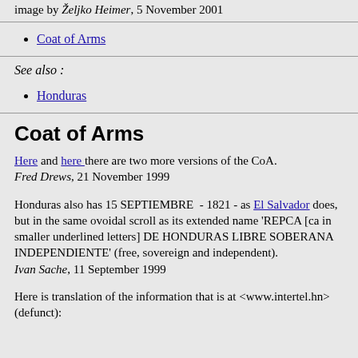image by Željko Heimer, 5 November 2001
Coat of Arms
See also :
Honduras
Coat of Arms
Here and here there are two more versions of the CoA. Fred Drews, 21 November 1999
Honduras also has 15 SEPTIEMBRE  - 1821 - as El Salvador does, but in the same ovoidal scroll as its extended name 'REPCA [ca in smaller underlined letters] DE HONDURAS LIBRE SOBERANA INDEPENDIENTE' (free, sovereign and independent). Ivan Sache, 11 September 1999
Here is translation of the information that is at <www.intertel.hn> (defunct):